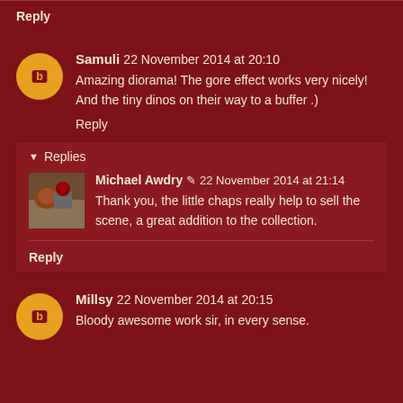Reply
Samuli 22 November 2014 at 20:10
Amazing diorama! The gore effect works very nicely! And the tiny dinos on their way to a buffer .)
Reply
Replies
Michael Awdry 22 November 2014 at 21:14
Thank you, the little chaps really help to sell the scene, a great addition to the collection.
Reply
Millsy 22 November 2014 at 20:15
Bloody awesome work sir, in every sense.